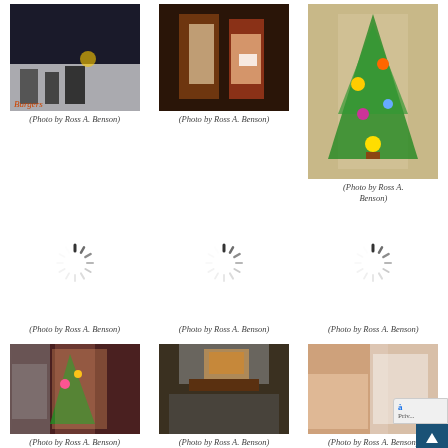[Figure (photo): People on a snowy outdoor scene at night, with a Burgers sign visible]
(Photo by Ross A. Benson)
[Figure (photo): Two people standing indoors, one holding a certificate or award]
(Photo by Ross A. Benson)
[Figure (photo): Decorative Christmas tree with ornaments, indoors]
(Photo by Ross A. Benson)
[Figure (photo): Loading spinner placeholder]
(Photo by Ross A. Benson)
[Figure (photo): Loading spinner placeholder]
(Photo by Ross A. Benson)
[Figure (photo): Loading spinner placeholder]
(Photo by Ross A. Benson)
[Figure (photo): Woman sitting near a Christmas tree indoors]
(Photo by Ross A. Benson)
[Figure (photo): People standing under a sign outside a building at night]
(Photo by Ross A. Benson)
[Figure (photo): Two women in formal/costume attire indoors]
(Photo by Ross A. Benson)